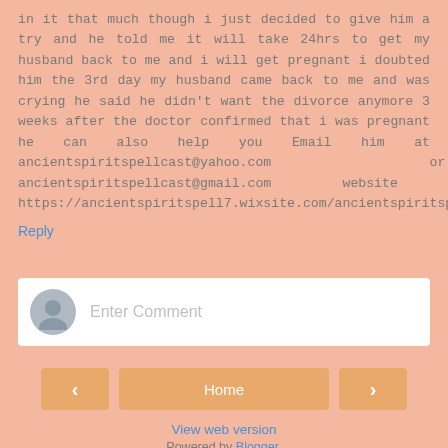in it that much though i just decided to give him a try and he told me it will take 24hrs to get my husband back to me and i will get pregnant i doubted him the 3rd day my husband came back to me and was crying he said he didn't want the divorce anymore 3 weeks after the doctor confirmed that i was pregnant he can also help you Email him at ancientspiritspellcast@yahoo.com or ancientspiritspellcast@gmail.com website at https://ancientspiritspell7.wixsite.com/ancientspiritspell
Reply
[Figure (other): Comment entry box with avatar icon and placeholder text 'Enter Comment']
[Figure (other): Navigation bar with left arrow button, Home button, and right arrow button]
View web version
Powered by Blogger.